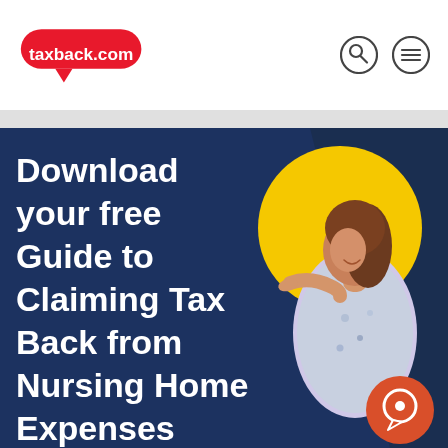taxback.com
[Figure (illustration): Promotional hero image for taxback.com showing a woman pointing toward text, with a yellow circle background, on a dark navy background. Text reads: Download your free Guide to Claiming Tax Back from Nursing Home Expenses]
Download your free Guide to Claiming Tax Back from Nursing Home Expenses